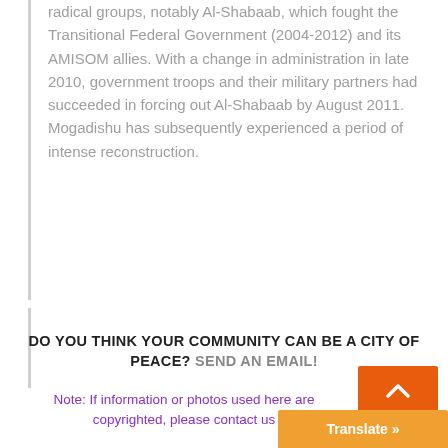radical groups, notably Al-Shabaab, which fought the Transitional Federal Government (2004-2012) and its AMISOM allies. With a change in administration in late 2010, government troops and their military partners had succeeded in forcing out Al-Shabaab by August 2011. Mogadishu has subsequently experienced a period of intense reconstruction.
DO YOU THINK YOUR COMMUNITY CAN BE A CITY OF PEACE? SEND AN EMAIL!
Note: If information or photos used here are copyrighted, please contact us